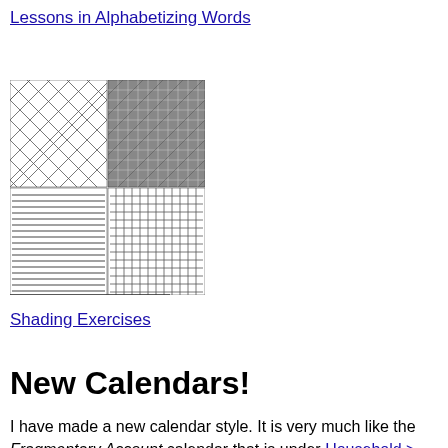Lessons in Alphabetizing Words
[Figure (illustration): A grid of shading texture samples showing various crosshatch, hatching, and stipple patterns in black and white, arranged in a mosaic. Below the image is the label 'Shading in Art'.]
Shading Exercises
New Calendars!
I have made a new calendar style. It is very much like the Fragmentary Account calendar that is under Household > Personal Calendars, but it is different in a couple major ways. This calendar features one month per page and the Mondays are highlighted. For now you can open the files and print them to try them out. Later I will finalize the important decisions regarding this style and the